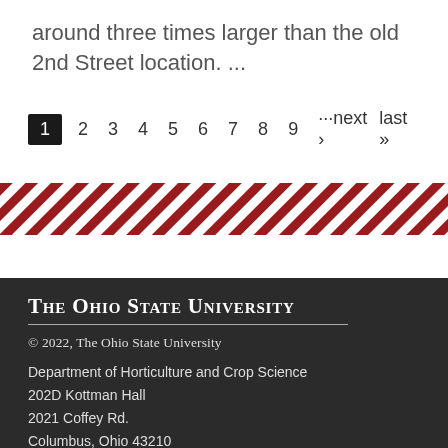around three times larger than the old 2nd Street location. ...
1 2 3 4 5 6 7 8 9 ···next › last »
[Figure (other): Diagonal red and white stripe decorative bar]
The Ohio State University
© 2022, The Ohio State University
Department of Horticulture and Crop Science
202D Kottman Hall
2021 Coffey Rd.
Columbus, Ohio 43210
Phone: 614-247-8626